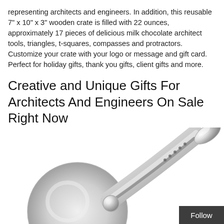representing architects and engineers. In addition, this reusable 7" x 10" x 3" wooden crate is filled with 22 ounces, approximately 17 pieces of delicious milk chocolate architect tools, triangles, t-squares, compasses and protractors. Customize your crate with your logo or message and gift card. Perfect for holiday gifts, thank you gifts, client gifts and more.
Creative and Unique Gifts For Architects And Engineers On Sale Right Now
[Figure (photo): A silver/chrome pizza cutter or serving utensil with a round blade at the bottom left and an elongated handle extending toward the upper right, photographed on a white background.]